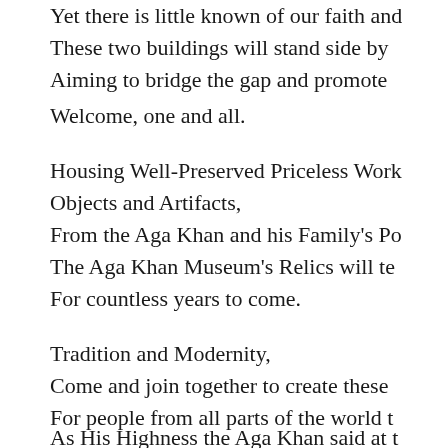Yet there is little known of our faith and...
These two buildings will stand side by...
Aiming to bridge the gap and promote...
Welcome, one and all.
Housing Well-Preserved Priceless Work...
Objects and Artifacts,
From the Aga Khan and his Family's Po...
The Aga Khan Museum's Relics will te...
For countless years to come.
Tradition and Modernity,
Come and join together to create these...
For people from all parts of the world t...
As His Highness the Aga Khan said at t...